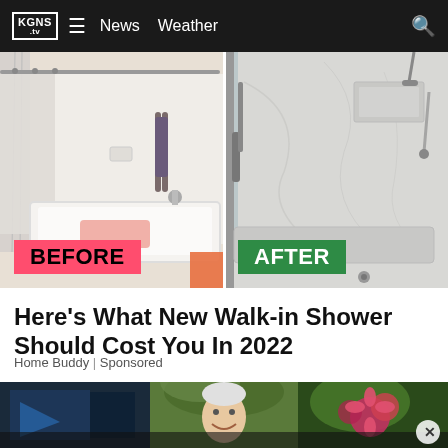KGNS .tv  ≡  News  Weather  🔍
[Figure (photo): Before and after bathroom renovation: left side shows an old bathtub with shower curtain labeled BEFORE in pink/red; right side shows a new marble walk-in shower labeled AFTER in green]
Here's What New Walk-in Shower Should Cost You In 2022
Home Buddy | Sponsored
[Figure (photo): Bottom strip showing a composite of three images: a TV studio graphic on the left, a smiling person outdoors in the center, and a colorful nature/flower scene on the right, with a close/X button overlay]